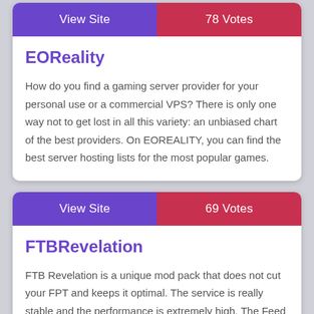View Site
78 Votes
EOReality
How do you find a gaming server provider for your personal use or a commercial VPS? There is only one way not to get lost in all this variety: an unbiased chart of the best providers. On EOREALITY, you can find the best server hosting lists for the most popular games.
View Site
69 Votes
FTBRevelation
FTB Revelation is a unique mod pack that does not cut your FPT and keeps it optimal. The service is really stable and the performance is extremely high. The Feed The Beast team has a huge experience in making mod packs and actually, this one is the largest.